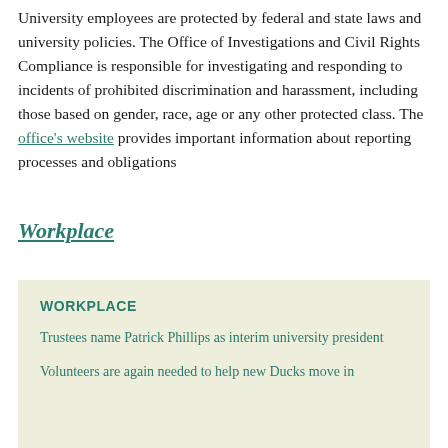University employees are protected by federal and state laws and university policies. The Office of Investigations and Civil Rights Compliance is responsible for investigating and responding to incidents of prohibited discrimination and harassment, including those based on gender, race, age or any other protected class. The office's website provides important information about reporting processes and obligations
Workplace
WORKPLACE
Trustees name Patrick Phillips as interim university president
Volunteers are again needed to help new Ducks move in.